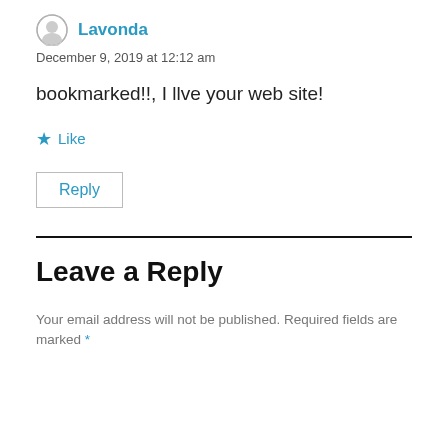Lavonda
December 9, 2019 at 12:12 am
bookmarked!!, I llve your web site!
★ Like
Reply
Leave a Reply
Your email address will not be published. Required fields are marked *